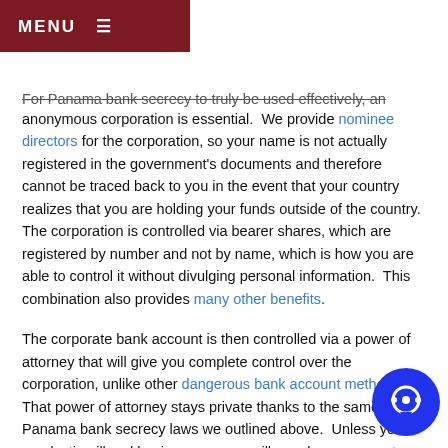MENU ☰
For Panama bank secrecy to truly be used effectively, an anonymous corporation is essential. We provide nominee directors for the corporation, so your name is not actually registered in the government's documents and therefore cannot be traced back to you in the event that your country realizes that you are holding your funds outside of the country. The corporation is controlled via bearer shares, which are registered by number and not by name, which is how you are able to control it without divulging personal information. This combination also provides many other benefits.
The corporate bank account is then controlled via a power of attorney that will give you complete control over the corporation, unlike other dangerous bank account methods. That power of attorney stays private thanks to the same Panama bank secrecy laws we outlined above. Unless you're conducting illegal business, no one will ever have access to that information.
This method is enough for most of our clients to keep their assets private. For many cases, additional layers of security and advanced methods are required to ensure that anonymity is maintained. If you are interested in developing a special bulletproof method especially for your case, contact us for a no-obligation consultation.